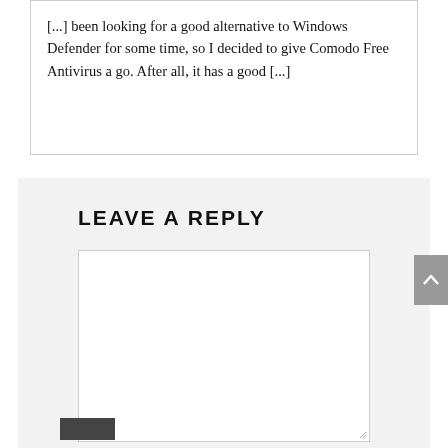[...] been looking for a good alternative to Windows Defender for some time, so I decided to give Comodo Free Antivirus a go. After all, it has a good [...]
LEAVE A REPLY